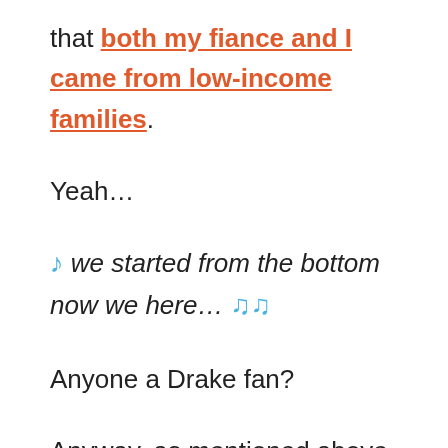that both my fiance and I came from low-income families.
Yeah...
🎵 we started from the bottom now we here... 🎵🎵
Anyone a Drake fan?
Anyway, as mentioned above, Warren Buffett says compound interest played an